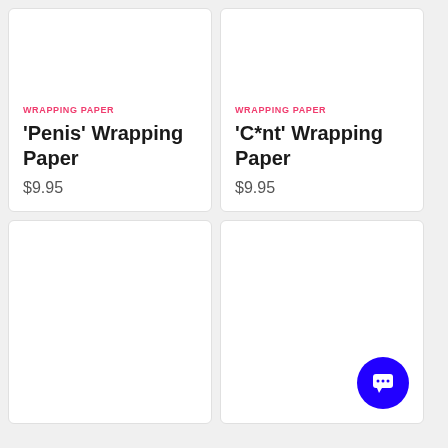WRAPPING PAPER
‘Penis’ Wrapping Paper
$9.95
WRAPPING PAPER
‘C*nt’ Wrapping Paper
$9.95
[Figure (other): Empty product card (bottom-left)]
[Figure (other): Empty product card with chat button overlay (bottom-right)]